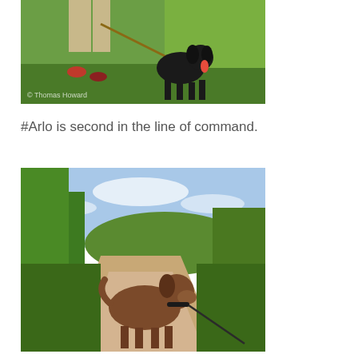[Figure (photo): A person in khaki shorts and red shoes walking a black Labrador dog on a brown leash through a green grassy field. Watermark reads '© Thomas Howard'.]
#Arlo is second in the line of command.
[Figure (photo): A brown/chocolate Labrador dog on a leash standing on a sandy trail, looking out at a lush green landscape with trees and blue sky.]